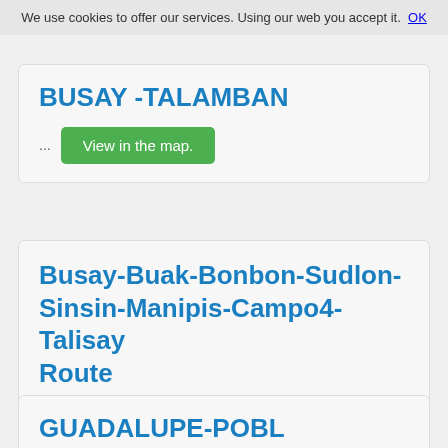We use cookies to offer our services. Using our web you accept it. OK
BUSAY -TALAMBAN
... View in the map.
Busay-Buak-Bonbon-Sudlon-Sinsin-Manipis-Campo4-Talisay Route
... View in the map.
GUADALUPE-POBL...